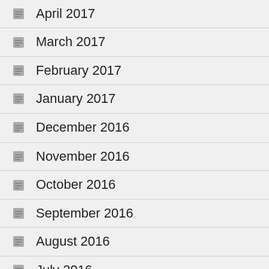April 2017
March 2017
February 2017
January 2017
December 2016
November 2016
October 2016
September 2016
August 2016
July 2016